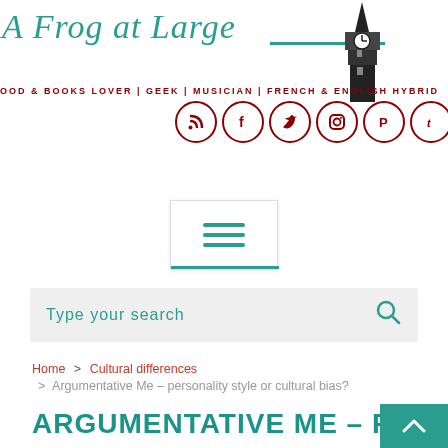A Frog at Large – FOOD & BOOKS LOVER | GEEK | MUSICIAN | FRENCH & ENGLISH HYBRID
[Figure (logo): Blog header with cursive teal title 'A Frog at Large', teal horizontal line, Big Ben silhouette, red tagline text, and social media icons in red circles (RSS, Facebook, Twitter, Instagram, Pinterest, Tumblr)]
[Figure (other): Hamburger menu button with three teal horizontal lines and a teal underline, on white card with light border]
Type your search
Home > Cultural differences > Argumentative Me – personality style or cultural bias?
Argumentative Me – Personality Style